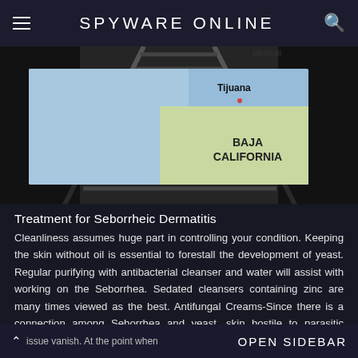SPYWARE ONLINE
[Figure (map): Map showing Baja California region with Tijuana and Mexicali labeled, overlaid on a dark railroad track background image]
Treatment for Seborrheic Dermatitis
Cleanliness assumes huge part in controlling your condition. Keeping the skin without oil is essential to forestall the development of yeast. Regular purifying with antibacterial cleanser and water will assist with working on the Seborrhea. Sedated cleansers containing zinc are many times viewed as the best. Antifungal Creams-Since there is a connection among Seborrhea and yeast, skin hostile to parasitic creams are one of the most widely recognized Dermatologist techniques for treatment. but this does not make the
issue vanish. At the point when   OPEN SIDEBAR